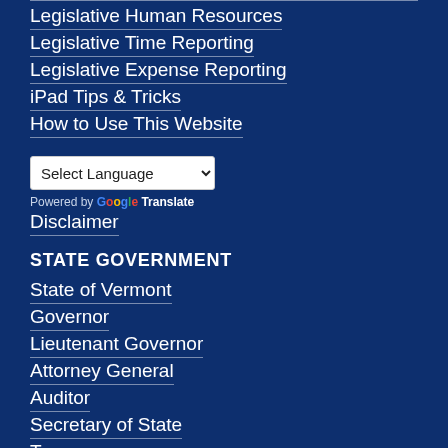Legislative Human Resources
Legislative Time Reporting
Legislative Expense Reporting
iPad Tips & Tricks
How to Use This Website
Select Language (dropdown)
Powered by Google Translate
Disclaimer
STATE GOVERNMENT
State of Vermont
Governor
Lieutenant Governor
Attorney General
Auditor
Secretary of State
Treasurer
Judiciary